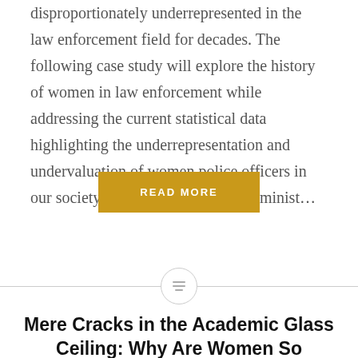disproportionately underrepresented in the law enforcement field for decades. The following case study will explore the history of women in law enforcement while addressing the current statistical data highlighting the underrepresentation and undervaluation of women police officers in our society. I will address several feminist...
READ MORE
[Figure (other): Horizontal divider with a centered circle icon containing three horizontal lines (menu/text icon)]
Mere Cracks in the Academic Glass Ceiling: Why Are Women So